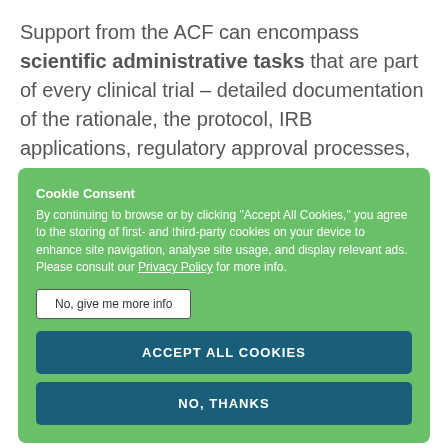Support from the ACF can encompass scientific administrative tasks that are part of every clinical trial – detailed documentation of the rationale, the protocol, IRB applications, regulatory approval processes, etc. We can assist
[Figure (screenshot): Cookie consent popup overlay with green background. Contains title 'Cookie Consent', body text about browser cookies and privacy policy link, a 'No, give me more info' outline button, an 'ACCEPT ALL COOKIES' dark teal button, and a 'NO, THANKS' dark teal button.]